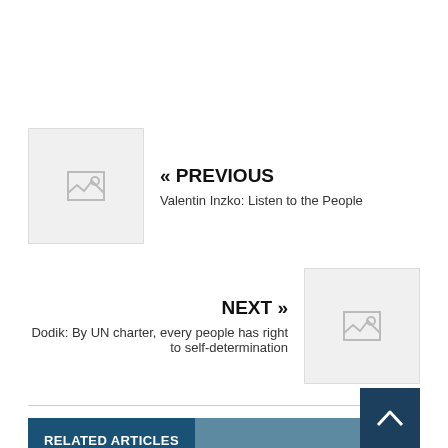« PREVIOUS
Valentin Inzko: Listen to the People
NEXT »
Dodik: By UN charter, every people has right to self-determination
RELATED ARTICLES
Flood Relief Solidarity Trumps Ethnic Divisions
2014.05.26  Editor